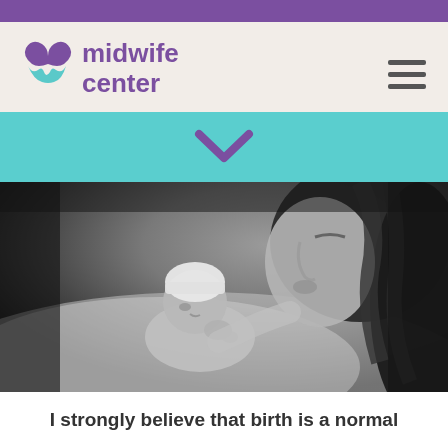midwife center
[Figure (photo): Black and white photograph of a mother lying down looking at her newborn baby wearing a knit hat]
I strongly believe that birth is a normal